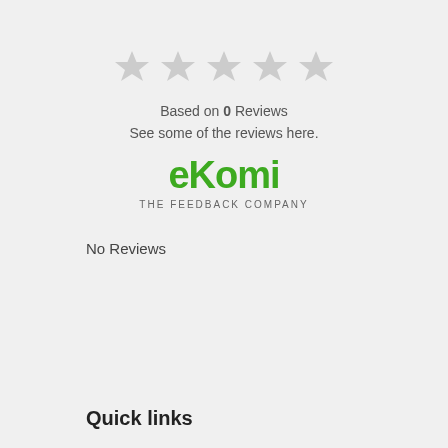[Figure (other): Five empty/unfilled star rating icons displayed in a row, all grey colored]
Based on 0 Reviews
See some of the reviews here.
[Figure (logo): eKomi logo - green text reading 'eKomi' with tagline 'THE FEEDBACK COMPANY' below]
No Reviews
Quick links